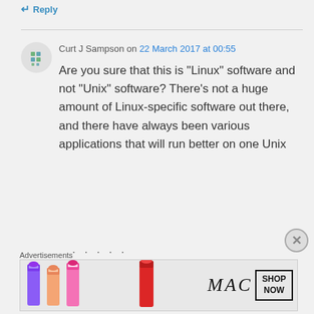↵ Reply
Curt J Sampson on 22 March 2017 at 00:55
Are you sure that this is “Linux” software and not “Unix” software? There’s not a huge amount of Linux-specific software out there, and there have always been various applications that will run better on one Unix
Advertisements
[Figure (photo): MAC lipsticks advertisement banner with the MAC logo, lipsticks in various colors (purple, peach, pink, red), and a SHOP NOW button]